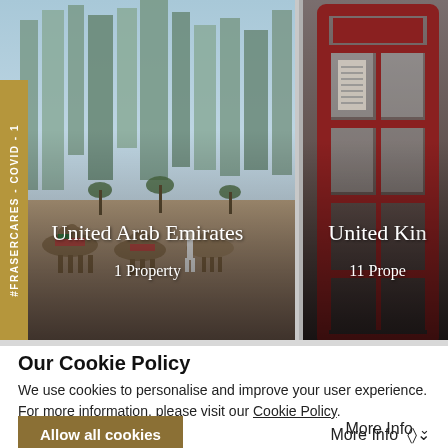[Figure (photo): Left panel showing camels on a beach with Dubai skyscraper skyline in background, overlaid with text 'United Arab Emirates' and '1 Property'. Right panel showing a red British telephone box with text 'United Kingdom' (partially visible) and '11 Prope...' (truncated).]
Our Cookie Policy
We use cookies to personalise and improve your user experience. For more information, please visit our Cookie Policy.
Allow all cookies   More Info ∨